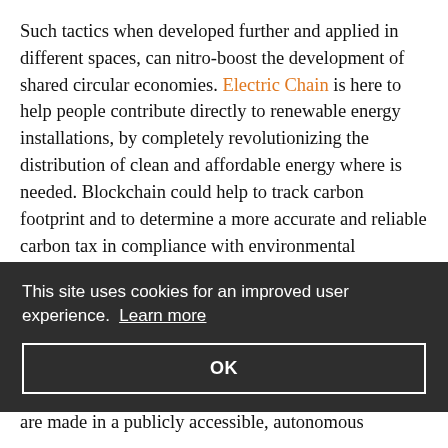Such tactics when developed further and applied in different spaces, can nitro-boost the development of shared circular economies. Electric Chain is here to help people contribute directly to renewable energy installations, by completely revolutionizing the distribution of clean and affordable energy where is needed. Blockchain could help to track carbon footprint and to determine a more accurate and reliable carbon tax in compliance with environmental agreements without any
This site uses cookies for an improved user experience. Learn more
OK
are made in a publicly accessible, autonomous